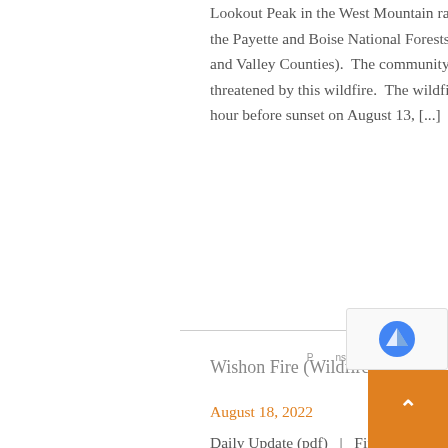Lookout Peak in the West Mountain range west of Cascade on the Payette and Boise National Forests (within Adams, Gem and Valley Counties).  The community of Cascade is not threatened by this wildfire.  The wildfire flared up about an hour before sunset on August 13, [...]
Wishon Fire (Wildfire)
August 18, 2022
Daily Update (pdf)   |    Fire Map (pdf)   |   Sequoia National Forest FacebookFirefighters responded to the Wishon Fire on August 15 in the Tule River Canyon near The Stairs on the